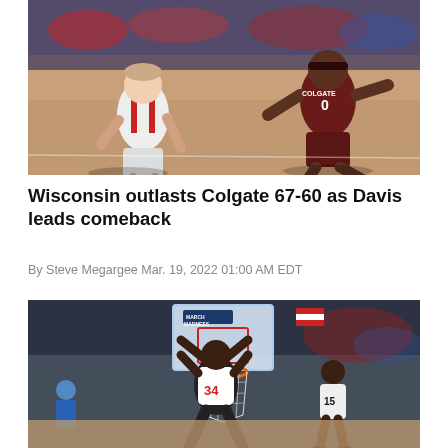[Figure (photo): Basketball game action shot: Wisconsin player in white dribbles against Colgate player in maroon jersey number 0 during NCAA tournament game on a hardwood court.]
Wisconsin outlasts Colgate 67-60 as Davis leads comeback
By Steve Megargee Mar. 19, 2022 01:00 AM EDT
[Figure (photo): Basketball player in white uniform dunking the ball through the net during an NCAA March Madness game, with crowd and opposing players visible in background.]